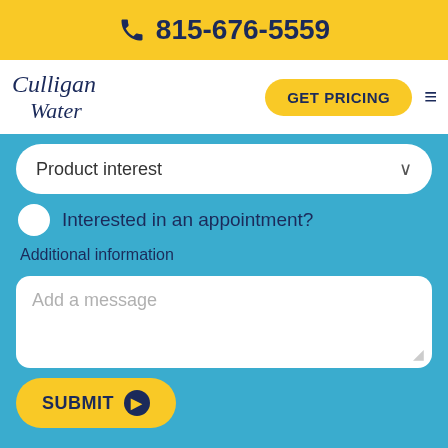☎ 815-676-5559
[Figure (logo): Culligan Water logo in navy italic script font]
GET PRICING
Product interest
Interested in an appointment?
Additional information
Add a message
SUBMIT